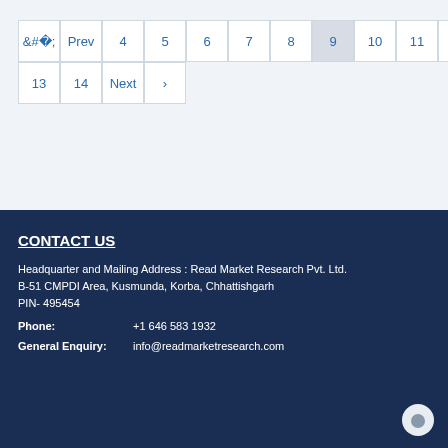[Figure (other): Pagination navigation showing page numbers 4-14 with Prev/Next buttons, current page 9 highlighted]
CONTACT US
Headquarter and Mailing Address : Read Market Research Pvt. Ltd.
B-51 CMPDI Area, Kusmunda, Korba, Chhattishgarh
PIN- 495454
Phone:   +1 646 583 1932
General Enquiry:   info@readmarketresearch.com